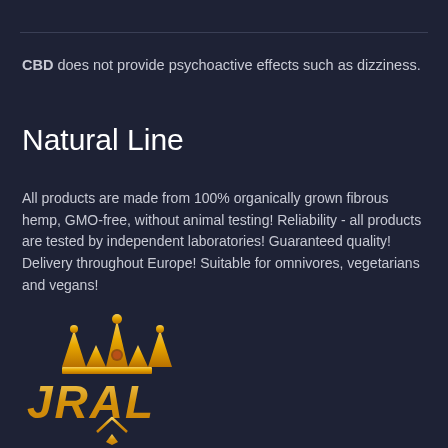CBD does not provide psychoactive effects such as dizziness.
Natural Line
All products are made from 100% organically grown fibrous hemp, GMO-free, without animal testing! Reliability - all products are tested by independent laboratories! Guaranteed quality! Delivery throughout Europe! Suitable for omnivores, vegetarians and vegans!
[Figure (logo): JRAL brand logo with a golden crown above golden stylized letters JRAL and a decorative line beneath with a diamond/chevron design]